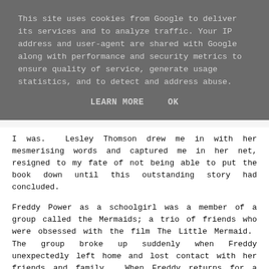This site uses cookies from Google to deliver its services and to analyze traffic. Your IP address and user-agent are shared with Google along with performance and security metrics to ensure quality of service, generate usage statistics, and to detect and address abuse.
LEARN MORE    OK
I was.  Lesley Thomson drew me in with her mesmerising words and captured me in her net, resigned to my fate of not being able to put the book down until this outstanding story had concluded.
Freddy Power as a schoolgirl was a member of a group called the Mermaids; a trio of friends who were obsessed with the film The Little Mermaid.  The group broke up suddenly when Freddy unexpectedly left home and lost contact with her friends and family.  When Freddy returns for a family funeral, it's not exactly a joyous reunion with fellow Mermaids, Mags and Toni, and even Freddy's brothers don't want her there.  When Mags goes missing, after a suspicious double death in the town, Freddy decides to stay